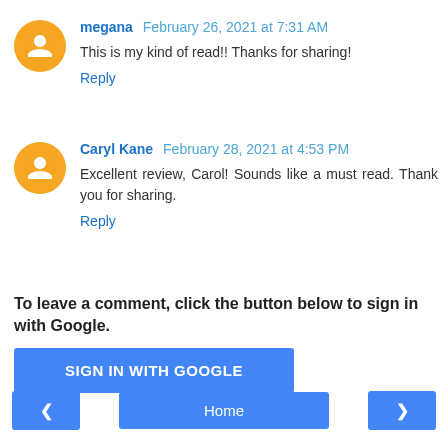megana February 26, 2021 at 7:31 AM
This is my kind of read!! Thanks for sharing!
Reply
Caryl Kane February 28, 2021 at 4:53 PM
Excellent review, Carol! Sounds like a must read. Thank you for sharing.
Reply
To leave a comment, click the button below to sign in with Google.
SIGN IN WITH GOOGLE
Home